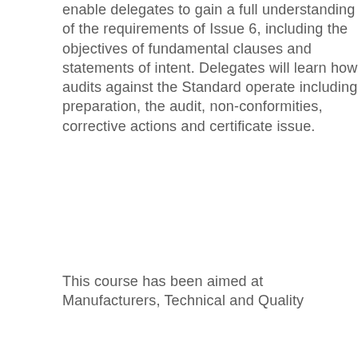enable delegates to gain a full understanding of the requirements of Issue 6, including the objectives of fundamental clauses and statements of intent. Delegates will learn how audits against the Standard operate including preparation, the audit, non-conformities, corrective actions and certificate issue.
This course has been aimed at Manufacturers, Technical and Quality